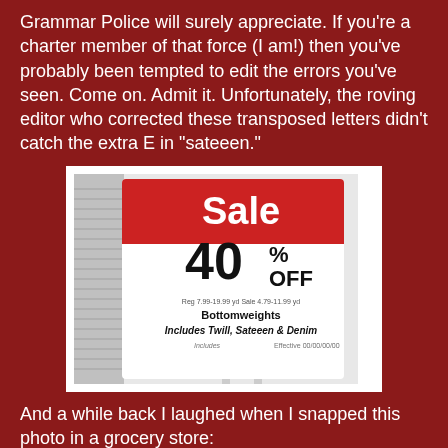Grammar Police will surely appreciate. If you're a charter member of that force (I am!) then you've probably been tempted to edit the errors you've seen. Come on. Admit it. Unfortunately, the roving editor who corrected these transposed letters didn't catch the extra E in "sateeen."
[Figure (photo): A retail sale sign showing 'Sale 40% OFF' with text underneath reading 'Bottomweights Includes Twill, Sateeen & Denim']
And a while back I laughed when I snapped this photo in a grocery store:
[Figure (photo): Partial view of another photo, cut off at bottom of page]